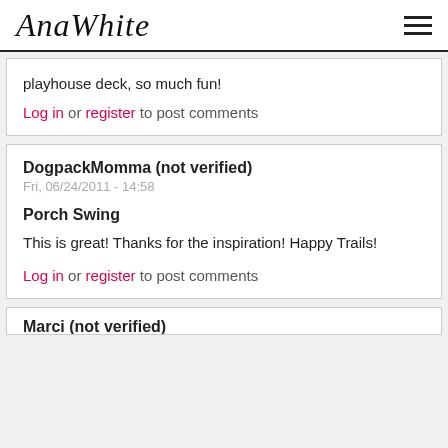AnaWhite
playhouse deck, so much fun!
Log in or register to post comments
DogpackMomma (not verified)
Fri, 06/24/2011 - 14:58
Porch Swing
This is great! Thanks for the inspiration! Happy Trails!
Log in or register to post comments
Marci (not verified)